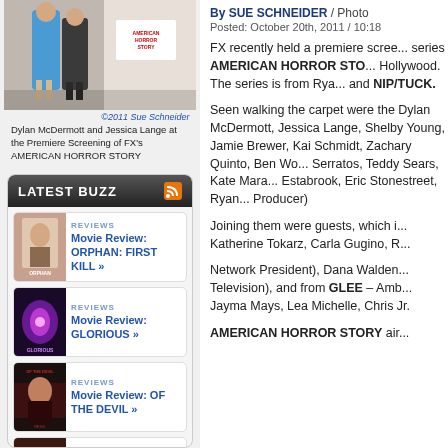[Figure (photo): Dylan McDermott and Jessica Lange at the Premiere Screening of FX's AMERICAN HORROR STORY]
©2011 Sue Schneider
Dylan McDermott and Jessica Lange at the Premiere Screening of FX's AMERICAN HORROR STORY
LATEST BUZZ
[Figure (photo): Orphan: First Kill movie poster thumbnail]
REVIEWS
Movie Review: ORPHAN: FIRST KILL »
[Figure (photo): Glorious movie poster thumbnail]
REVIEWS
Movie Review: GLORIOUS »
[Figure (photo): Of The Devil movie poster thumbnail]
REVIEWS
Movie Review: OF THE DEVIL »
[Figure (photo): Camping Trip movie poster thumbnail]
REVIEWS
Movie Review: CAMPING TRIP »
By SUE SCHNEIDER / Photo
Posted: October 20th, 2011 / 10:18
FX recently held a premiere scree... series AMERICAN HORROR STORY Hollywood. The series is from Rya... and NIP/TUCK.
Seen walking the carpet were the Dylan McDermott, Jessica Lange, Shelby Young, Jamie Brewer, Kai Schmidt, Zachary Quinto, Ben Wo... Serratos, Teddy Sears, Kate Mara... Estabrook, Eric Stonestreet, Ryan... Producer)
Joining them were guests, which i... Katherine Tokarz, Carla Gugino, R...
Network President), Dana Walden... Television), and from GLEE – Amb... Jayma Mays, Lea Michelle, Chris Jr.
AMERICAN HORROR STORY air...